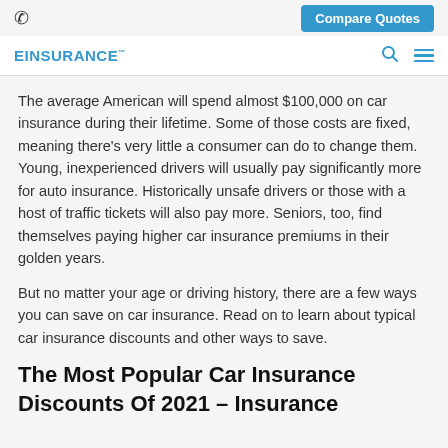Compare Quotes
EINSURANCE
The average American will spend almost $100,000 on car insurance during their lifetime. Some of those costs are fixed, meaning there's very little a consumer can do to change them. Young, inexperienced drivers will usually pay significantly more for auto insurance. Historically unsafe drivers or those with a host of traffic tickets will also pay more. Seniors, too, find themselves paying higher car insurance premiums in their golden years.
But no matter your age or driving history, there are a few ways you can save on car insurance. Read on to learn about typical car insurance discounts and other ways to save.
The Most Popular Car Insurance Discounts Of 2021 – Insurance